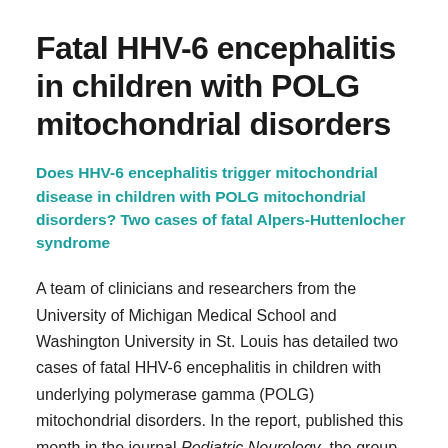Fatal HHV-6 encephalitis in children with POLG mitochondrial disorders
Does HHV-6 encephalitis trigger mitochondrial disease in children with POLG mitochondrial disorders? Two cases of fatal Alpers-Huttenlocher syndrome
A team of clinicians and researchers from the University of Michigan Medical School and Washington University in St. Louis has detailed two cases of fatal HHV-6 encephalitis in children with underlying polymerase gamma (POLG) mitochondrial disorders. In the report, published this month in the journal Pediatric Neurology, the group